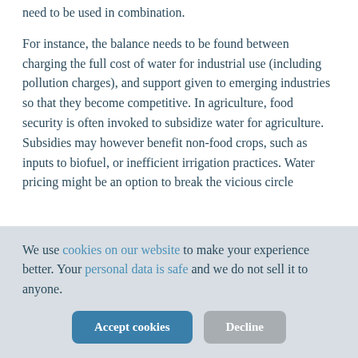need to be used in combination.
For instance, the balance needs to be found between charging the full cost of water for industrial use (including pollution charges), and support given to emerging industries so that they become competitive. In agriculture, food security is often invoked to subsidize water for agriculture. Subsidies may however benefit non-food crops, such as inputs to biofuel, or inefficient irrigation practices. Water pricing might be an option to break the vicious circle
We use cookies on our website to make your experience better. Your personal data is safe and we do not sell it to anyone.